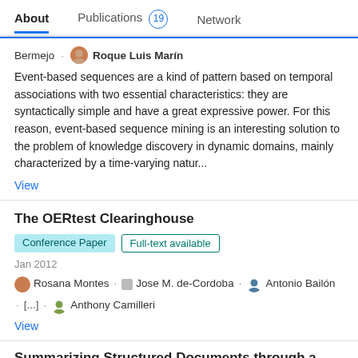About  Publications 19  Network
Bermejo · Roque Luis Marín
Event-based sequences are a kind of pattern based on temporal associations with two essential characteristics: they are syntactically simple and have a great expressive power. For this reason, event-based sequence mining is an interesting solution to the problem of knowledge discovery in dynamic domains, mainly characterized by a time-varying natur...
View
The OERtest Clearinghouse
Conference Paper  Full-text available
Jan 2012
Rosana Montes · Jose M. de-Cordoba · Antonio Bailón · [...] · Anthony Camilleri
View
Summarizing Structured Documents through a Fractal